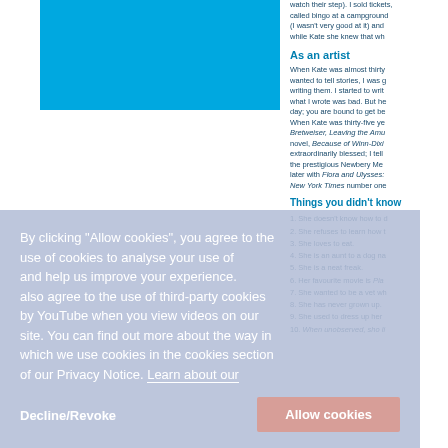[Figure (photo): Blue rectangle image placeholder in top left area]
watch their step). I sold tickets, called bingo at a campground (I wasn't very good at it) and while Kate she knew that wh...
As an artist
When Kate was almost thirty, wanted to tell stories, I was going writing them. I started to write what I wrote was bad. But he day; you are bound to get be When Kate was thirty-five Bretweiser, Leaving the Amu novel, Because of Winn-Dixi extraordinarily blessed; I tell the prestigious Newbery Me later with Flora and Ulysses: New York Times number one
Things you didn't know
1. She doesn't know how to d
2. She refuses to learn how t
3. She loves to eat.
4. She is an aunt to a dog na
5. She is a neat freak.
6. Her favourite movie is Pla
7. She wanted to be a vet wh
8. She has never grown up.
9. She used to dress up her
10. When unobserved, sho li
By clicking "Allow cookies", you agree to the use of cookies to analyse your use of and help us improve your experience. also agree to the use of third-party cookies by YouTube when you view videos on our site. You can find out more about the way in which we use cookies in the cookies section of our Privacy Notice. Learn about our cookies